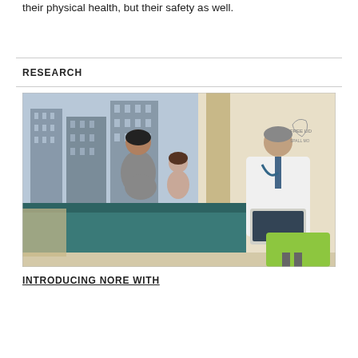their physical health, but their safety as well.
RESEARCH
[Figure (photo): A doctor in a white coat sitting in a green chair with a laptop consults with a pregnant woman and a young girl sitting on a teal couch in a medical office setting with a city view through the window.]
INTRODUCING NORE WITH